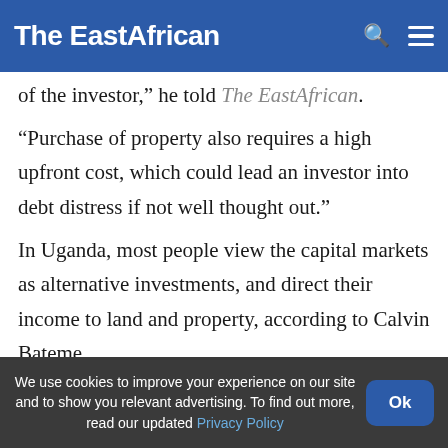The EastAfrican
of the investor," he told The EastAfrican.
“Purchase of property also requires a high upfront cost, which could lead an investor into debt distress if not well thought out.”
In Uganda, most people view the capital markets as alternative investments, and direct their income to land and property, according to Calvin Bateme,
We use cookies to improve your experience on our site and to show you relevant advertising. To find out more, read our updated Privacy Policy